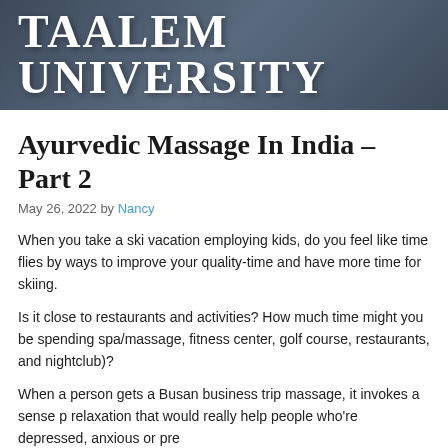TAALEM UNIVERSITY
Ayurvedic Massage In India – Part 2
May 26, 2022 by Nancy
When you take a ski vacation employing kids, do you feel like time flies by ways to improve your quality-time and have more time for skiing.
Is it close to restaurants and activities? How much time might you be spending spa/massage, fitness center, golf course, restaurants, and nightclub)?
When a person gets a Busan business trip massage, it invokes a sense p relaxation that would really help people who're depressed, anxious or pre
Before you sign up for any course it is important to are able to choose mo choice. To start with you should find out as many details as possible relati
“Well Do not trip massage want them at that price.” I’m now believing that